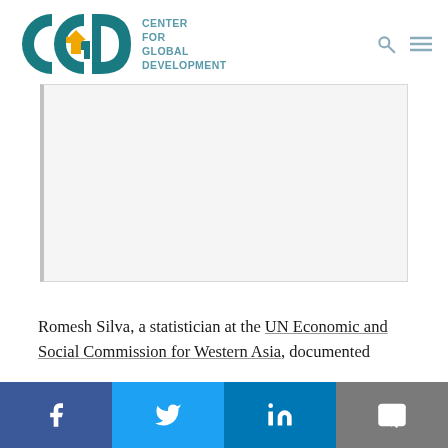CGD — CENTER FOR GLOBAL DEVELOPMENT
[Figure (other): Blank placeholder image area with left border and light gray background]
Romesh Silva, a statistician at the UN Economic and Social Commission for Western Asia, documented
Social sharing bar: Facebook, Twitter, LinkedIn, Email